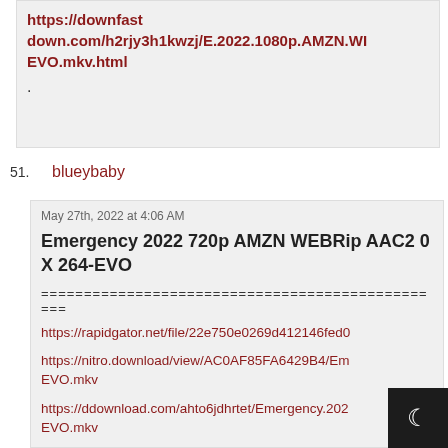https://downfast down.com/h2rjy3h1kwzj/E.2022.1080p.AMZN.WI EVO.mkv.html
.
51. blueybaby
May 27th, 2022 at 4:06 AM
Emergency 2022 720p AMZN WEBRip AAC2 0 X 264-EVO
============================================
https://rapidgator.net/file/22e750e0269d412146fed0
https://nitro.download/view/AC0AF85FA6429B4/Em EVO.mkv
https://ddownload.com/ahto6jdhrtet/Emergency.202 EVO.mkv
https://clicknupload.club/5pse1udp6wiw